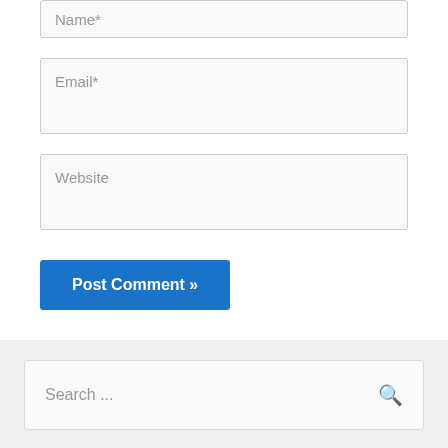Name*
Email*
Website
Post Comment »
Search ...
[Figure (illustration): Blue flag with yellow star and white diagonal stripe at bottom]